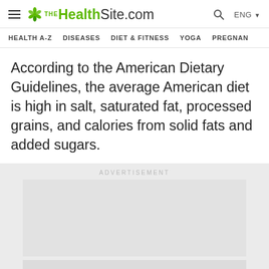TheHealthSite.com | ENG
HEALTH A-Z  DISEASES  DIET & FITNESS  YOGA  PREGNAN
According to the American Dietary Guidelines, the average American diet is high in salt, saturated fat, processed grains, and calories from solid fats and added sugars.
[Figure (other): Advertisement placeholder box, grey background with text 'ADVERTISEMENT' and empty ad space below]